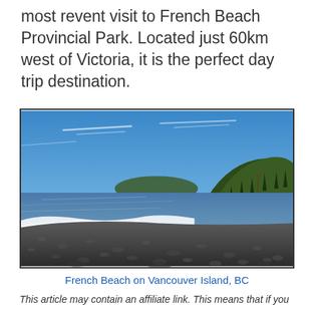most revent visit to French Beach Provincial Park. Located just 60km west of Victoria, it is the perfect day trip destination.
[Figure (photo): Photograph of French Beach on Vancouver Island, BC. A rocky/pebbly beach in the foreground with ocean waves, forested hills/headland in the background, and a blue sky with light clouds.]
French Beach on Vancouver Island, BC
This article may contain an affiliate link. This means that if you